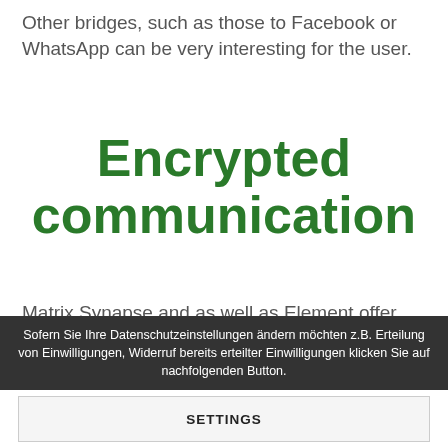Other bridges, such as those to Facebook or WhatsApp can be very interesting for the user.
Encrypted communication
Matrix Synapse and as well as Element offer the possibility to encrypt chatrooms (direct or group).
Sofern Sie Ihre Datenschutzeinstellungen ändern möchten z.B. Erteilung von Einwilligungen, Widerruf bereits erteilter Einwilligungen klicken Sie auf nachfolgenden Button.
SETTINGS